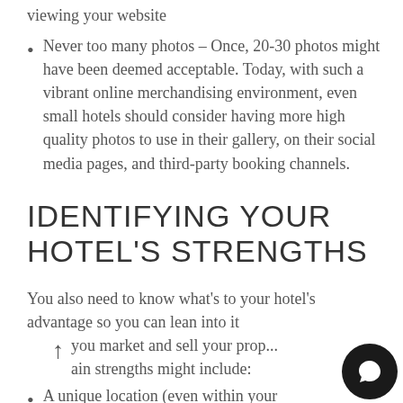a better impression on people viewing your website
Never too many photos – Once, 20-30 photos might have been deemed acceptable. Today, with such a vibrant online merchandising environment, even small hotels should consider having more high quality photos to use in their gallery, on their social media pages, and third-party booking channels.
IDENTIFYING YOUR HOTEL'S STRENGTHS
You also need to know what's to your hotel's advantage so you can lean into it
you market and sell your property. Main strengths might include:
A unique location (even within your